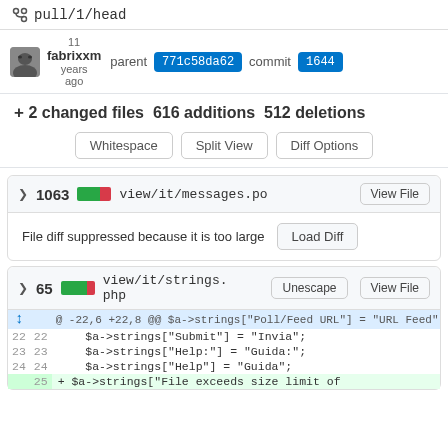pull/1/head
fabrixxm 11 years ago parent 771c58da62 commit 1644
+ 2 changed files 616 additions 512 deletions
Whitespace
Split View
Diff Options
1063 view/it/messages.po View File
File diff suppressed because it is too large  Load Diff
65 view/it/strings.php  Unescape  View File
| old ln | new ln | code |
| --- | --- | --- |
|  |  | @ -22,6 +22,8 @@ $a->strings["Poll/Feed URL"] = "URL Feed"; |
| 22 | 22 |     $a->strings["Submit"] = "Invia"; |
| 23 | 23 |     $a->strings["Help:"] = "Guida:"; |
| 24 | 24 |     $a->strings["Help"] = "Guida"; |
|  | 25 | + $a->strings["File exceeds size limit of |